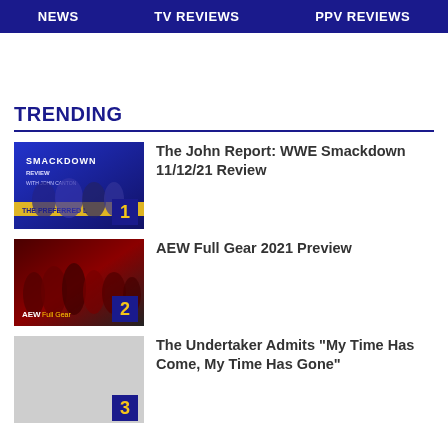NEWS | TV REVIEWS | PPV REVIEWS
TRENDING
The John Report: WWE Smackdown 11/12/21 Review
AEW Full Gear 2021 Preview
The Undertaker Admits "My Time Has Come, My Time Has Gone"